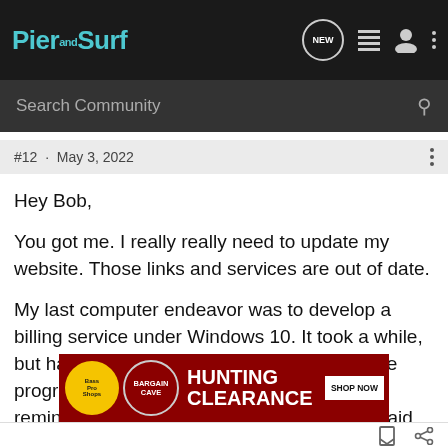Pier and Surf
Search Community
#12 · May 3, 2022
Hey Bob,

You got me. I really really need to update my website. Those links and services are out of date.

My last computer endeavor was to develop a billing service under Windows 10. It took a while, but has been very worthwhile. Every night the program runs at 1:00 AM and sends out reminders for bills not paid. The filter is not paid, and one of the following, 5 days before due date, due date, 10 days after due date.
[Figure (photo): Bass Pro Shops advertisement banner: Hunting Bargain Clearance, Shop Now button]